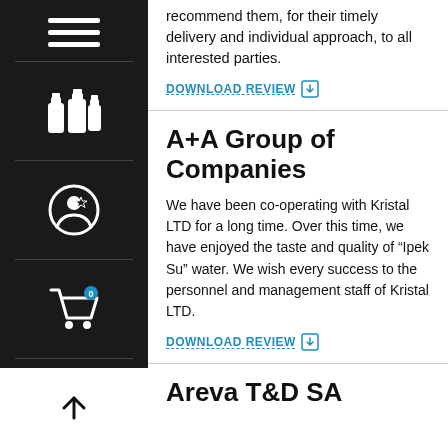recommend them, for their timely delivery and individual approach, to all interested parties.
DOWNLOAD REVIEW
A+A Group of Companies
We have been co-operating with Kristal LTD for a long time. Over this time, we have enjoyed the taste and quality of “Ipek Su” water. We wish every success to the personnel and management staff of Kristal LTD.
DOWNLOAD REVIEW
Areva T&D SA